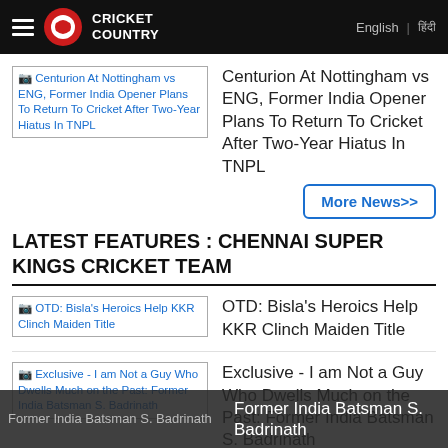Cricket Country | English | हिंदी
[Figure (screenshot): Broken image thumbnail: Centurion At Nottingham vs ENG, Former India Opener Plans To Return To Cricket After Two-Year Hiatus In TNPL]
Centurion At Nottingham vs ENG, Former India Opener Plans To Return To Cricket After Two-Year Hiatus In TNPL
More News>>
LATEST FEATURES : CHENNAI SUPER KINGS CRICKET TEAM
[Figure (screenshot): Broken image thumbnail: OTD: Bisla's Heroics Help KKR Clinch Maiden Title]
OTD: Bisla's Heroics Help KKR Clinch Maiden Title
[Figure (screenshot): Broken image thumbnail: Exclusive - I am Not a Guy Who Dwells Much on the Past: Former India Batsman S. Badrinath]
Exclusive - I am Not a Guy Who Dwells Much on the Past: Former India Batsman S. Badrinath